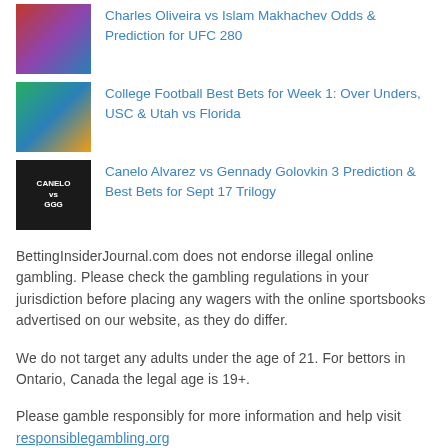Charles Oliveira vs Islam Makhachev Odds & Prediction for UFC 280
College Football Best Bets for Week 1: Over Unders, USC & Utah vs Florida
Canelo Alvarez vs Gennady Golovkin 3 Prediction & Best Bets for Sept 17 Trilogy
BettingInsiderJournal.com does not endorse illegal online gambling. Please check the gambling regulations in your jurisdiction before placing any wagers with the online sportsbooks advertised on our website, as they do differ.
We do not target any adults under the age of 21. For bettors in Ontario, Canada the legal age is 19+.
Please gamble responsibly for more information and help visit responsiblegambling.org